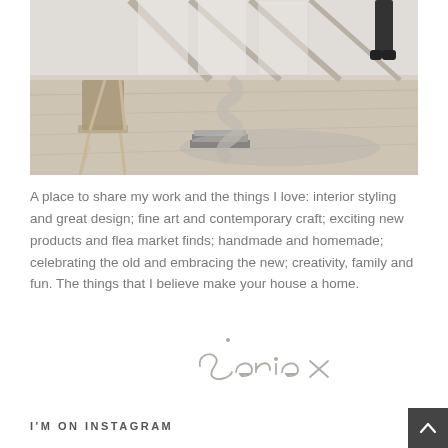[Figure (photo): Interior design photo showing a minimalist space with a wooden chair, stack of books, and a decorative sculptural element on a light wood floor, with large windows in the background and a person partially visible]
A place to share my work and the things I love: interior styling and great design; fine art and contemporary craft; exciting new products and flea market finds; handmade and homemade; celebrating the old and embracing the new; creativity, family and fun. The things that I believe make your house a home.
[Figure (illustration): Handwritten signature reading 'Sania x' in grey ink]
I'M ON INSTAGRAM